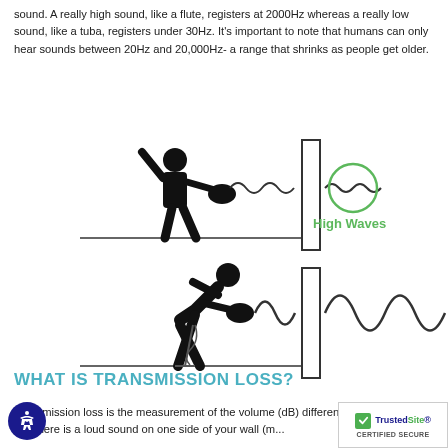sound. A really high sound, like a flute, registers at 2000Hz whereas a really low sound, like a tuba, registers under 30Hz. It's important to note that humans can only hear sounds between 20Hz and 20,000Hz- a range that shrinks as people get older.
[Figure (illustration): Diagram showing two scenarios: Top - a guitarist playing standing up with high-frequency sound waves passing through a wall, with a green circle labeled 'High Waves' highlighting the transmitted waves on the other side. Bottom - a guitarist crouching playing with low-frequency (large) sound waves passing through a wall, showing larger waves on the other side.]
WHAT IS TRANSMISSION LOSS?
Transmission loss is the measurement of the volume (dB) difference of a wall. Let's say there is a loud sound on one side of your wall (m...